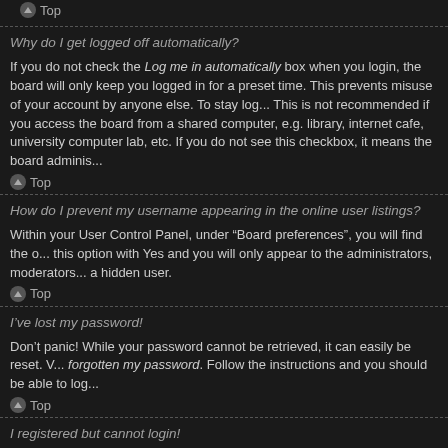Top
Why do I get logged off automatically?
If you do not check the Log me in automatically box when you login, the board will only keep you logged in for a preset time. This prevents misuse of your account by anyone else. To stay logged in, check the box during login. This is not recommended if you access the board from a shared computer, e.g. library, internet cafe, university computer lab, etc. If you do not see this checkbox, it means the board adminis...
Top
How do I prevent my username appearing in the online user listings?
Within your User Control Panel, under “Board preferences”, you will find the option Hide your online status. Enable this option with Yes and you will only appear to the administrators, moderators and yourself. You will be counted as a hidden user.
Top
I've lost my password!
Don't panic! While your password cannot be retrieved, it can easily be reset. Visit the login page and click I forgot my password. Follow the instructions and you should be able to log in again shortly.
Top
I registered but cannot login!
First, check your username and password. If they are correct, then one of two things may have happened. If COPPA support is enabled and you specified being under 13 years old during registration, you will have to follow the instructions you received. Some boards will also require new registrations to be activated, either by yourself or by an administrator before you can logon; this information was present during regist... follow the instructions. If you did not receive an e-mail, you may have provi...